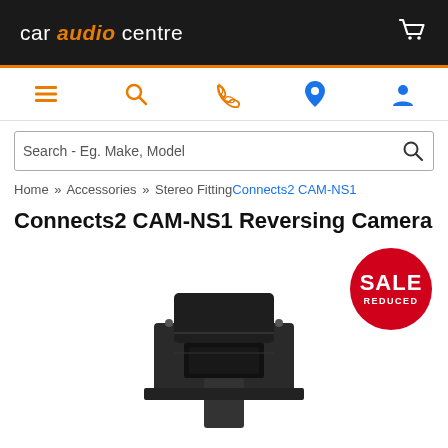car audio centre
[Figure (screenshot): Navigation icons: hamburger menu, search, phone, location pin, user account]
[Figure (screenshot): Search bar with placeholder text 'Search - Eg. Make, Model' and search icon]
Home » Accessories » Stereo Fitting Connects2 CAM-NS1
Connects2 CAM-NS1 Reversing Camera
[Figure (photo): Red circular SALE REDUCED badge and photo of Connects2 CAM-NS1 reversing camera mounted hardware, dark grey/black bracket with camera module]